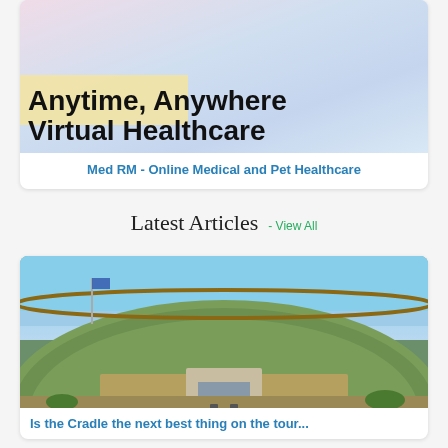[Figure (illustration): Banner illustration for Med RM virtual healthcare service showing 'Anytime, Anywhere Virtual Healthcare' text on a purple/blue gradient background with a yellow highlight block behind 'Virtual']
Med RM - Online Medical and Pet Healthcare
Latest Articles - View All
[Figure (photo): Photograph of a large grass-covered dome-shaped building (the Cradle of Humankind museum) with a concrete entrance portal and blue sky background]
Is the Cradle the next best thing on the tour...